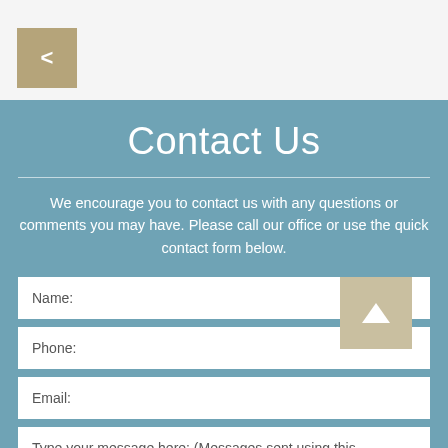[Figure (other): Back navigation button with left arrow symbol on tan/khaki background]
Contact Us
We encourage you to contact us with any questions or comments you may have. Please call our office or use the quick contact form below.
Name:
Phone:
Email:
Type your message here: (Messages sent using this